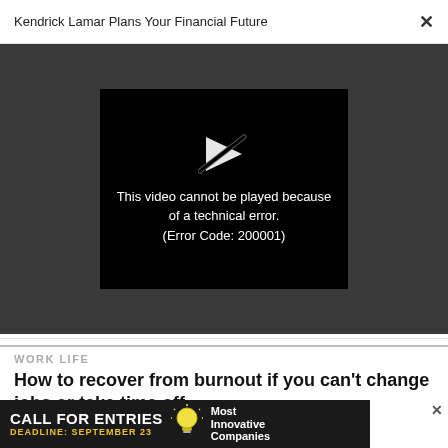Kendrick Lamar Plans Your Financial Future  ×
[Figure (screenshot): Video player showing error message: 'This video cannot be played because of a technical error. (Error Code: 200001)' with a broken play button icon on a black background, set within a dark gray video player area.]
WORK LIFE
How to recover from burnout if you can't change jobs or take time off
WORK LIFE
Looking for a great leader? Your current employees have recommendations
[Figure (infographic): Advertisement banner: dark background with 'CALL FOR ENTRIES' in bold white text, 'DEADLINE: SEPTEMBER 23' in yellow text, a light bulb icon, and 'Most Innovative Companies' text on the right side. An X close button appears in white at the top right of the banner.]